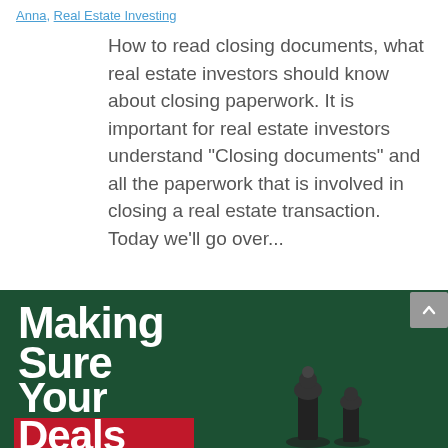Anna, Real Estate Investing
How to read closing documents, what real estate investors should know about closing paperwork. It is important for real estate investors understand "Closing documents" and all the paperwork that is involved in closing a real estate transaction.  Today we'll go over...
[Figure (illustration): Promotional banner image with dark green background showing text 'Making Sure Your Deals Always' in large white and red font, with a chess piece figure and a woman's headshot photo, and BigReia.com branding in the bottom right corner.]